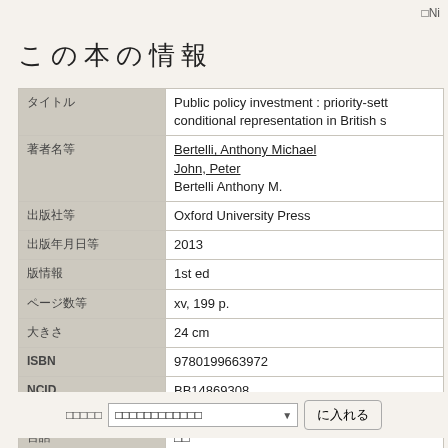□Ni
この本の情報
| フィールド | 値 |
| --- | --- |
| タイトル | Public policy investment : priority-sett conditional representation in British s |
| 著者名等 | Bertelli, Anthony Michael
John, Peter
Bertelli Anthony M. |
| 出版社等 | Oxford University Press |
| 出版年月日等 | 2013 |
| 版情報 | 1st ed |
| ページ数等 | xv, 199 p. |
| 大きさ | 24 cm |
| ISBN | 9780199663972 |
| NCID | BB14869308
※□□□□CiNii Books□□□ |
| 言語 | □□ |
| 出版国 | □□□□ |
□□□□□ □□□□□□□□□□□□ に入れる